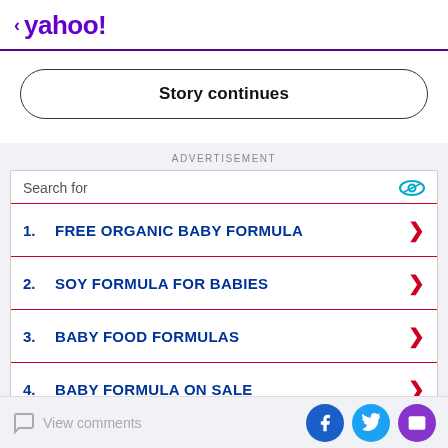< yahoo!
Story continues
ADVERTISEMENT
[Figure (screenshot): Advertisement box with 'Search for' header and a list of 5 search links: 1. FREE ORGANIC BABY FORMULA, 2. SOY FORMULA FOR BABIES, 3. BABY FOOD FORMULAS, 4. BABY FORMULA ON SALE, 5. NEWBORN BABY FORMULA]
View comments | Facebook | Twitter | Mail